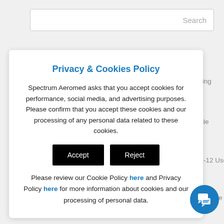[Figure (screenshot): Search bar input field with Search button on right]
Privacy & Cookies Policy
Spectrum Aeromed asks that you accept cookies for performance, social media, and advertising purposes. Please confirm that you accept these cookies and our processing of any personal data related to these cookies.
[Figure (screenshot): Accept and Reject buttons (black buttons)]
Please review our Cookie Policy here and Privacy Policy here for more information about cookies and our processing of personal data.
[Figure (screenshot): Blue chat/message icon button in bottom right corner]